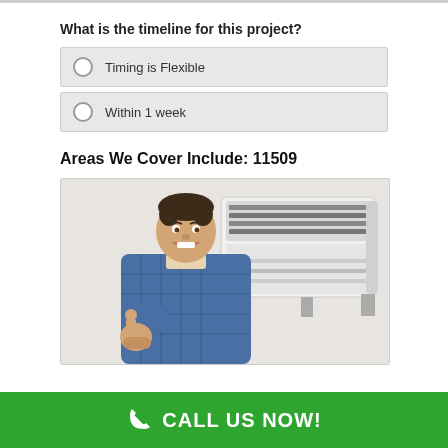What is the timeline for this project?
Timing is Flexible
Within 1 week
Areas We Cover Include: 11509
[Figure (photo): A smiling technician in a blue plaid shirt giving a thumbs up next to an open wall-mounted air conditioning unit on a white wall.]
CALL US NOW!